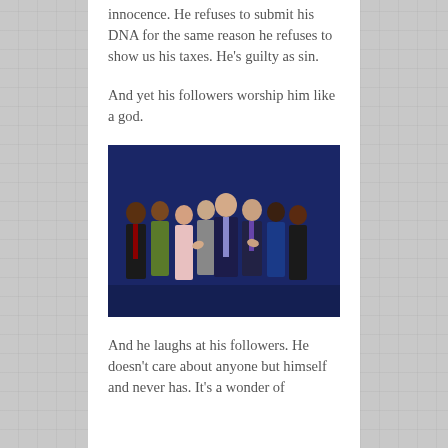innocence. He refuses to submit his DNA for the same reason he refuses to show us his taxes. He's guilty as sin.
And yet his followers worship him like a god.
[Figure (photo): A group of people surrounding a man in a dark suit, appearing to pray over him, against a dark blue background.]
And he laughs at his followers. He doesn't care about anyone but himself and never has. It's a wonder of